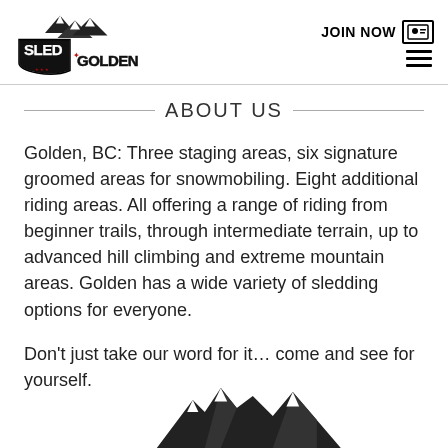[Figure (logo): Sled Golden logo with mountain graphic and stylized text reading SLED GOLDEN, British Columbia]
JOIN NOW
ABOUT US
Golden, BC: Three staging areas, six signature groomed areas for snowmobiling. Eight additional riding areas. All offering a range of riding from beginner trails, through intermediate terrain, up to advanced hill climbing and extreme mountain areas. Golden has a wide variety of sledding options for everyone.
Don't just take our word for it... come and see for yourself.
[Figure (logo): Partial Sled Golden mountain graphic logo at bottom of page]